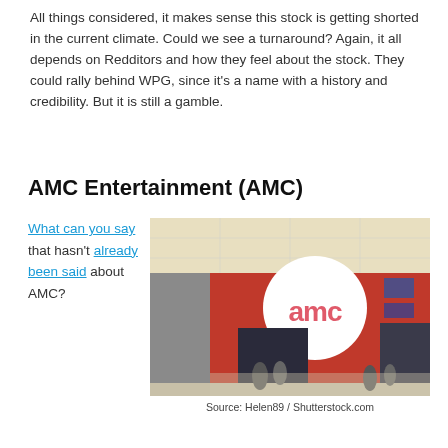All things considered, it makes sense this stock is getting shorted in the current climate. Could we see a turnaround? Again, it all depends on Redditors and how they feel about the stock. They could rally behind WPG, since it's a name with a history and credibility. But it is still a gamble.
AMC Entertainment (AMC)
What can you say that hasn't already been said about AMC?
[Figure (photo): AMC Entertainment storefront with large circular logo sign showing 'amc' in pink/red letters on white background, red facade, shot from inside a mall]
Source: Helen89 / Shutterstock.com